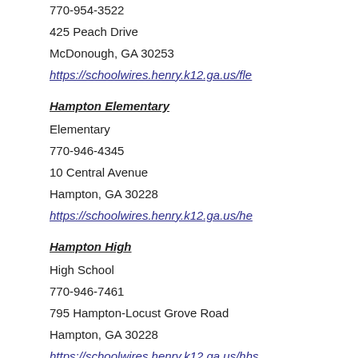770-954-3522
425 Peach Drive
McDonough, GA 30253
https://schoolwires.henry.k12.ga.us/fle
Hampton Elementary
Elementary
770-946-4345
10 Central Avenue
Hampton, GA 30228
https://schoolwires.henry.k12.ga.us/he
Hampton High
High School
770-946-7461
795 Hampton-Locust Grove Road
Hampton, GA 30228
https://schoolwires.henry.k12.ga.us/hhs
Hampton Middle